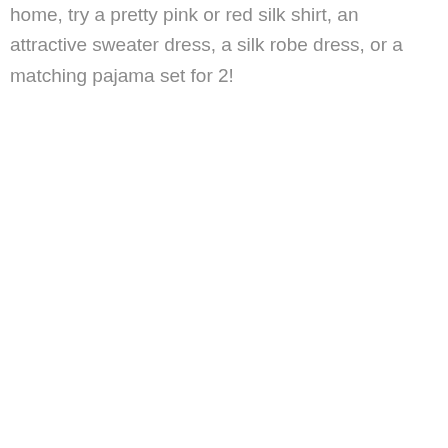home, try a pretty pink or red silk shirt, an attractive sweater dress, a silk robe dress, or a matching pajama set for 2!